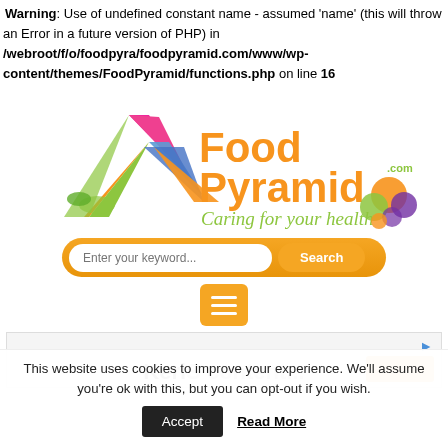Warning: Use of undefined constant name - assumed 'name' (this will throw an Error in a future version of PHP) in /webroot/f/o/foodpyra/foodpyramid.com/www/wp-content/themes/FoodPyramid/functions.php on line 16
[Figure (logo): FoodPyramid.com logo with colorful pyramid graphic and tagline 'Caring for your health' and fruits]
[Figure (screenshot): Search bar with 'Enter your keyword...' placeholder and orange Search button, on orange rounded background]
[Figure (screenshot): Orange hamburger menu button with three white lines]
[Figure (screenshot): Advertisement box area, partially visible with blue ad icon and orange button]
This website uses cookies to improve your experience. We'll assume you're ok with this, but you can opt-out if you wish.
Accept
Read More